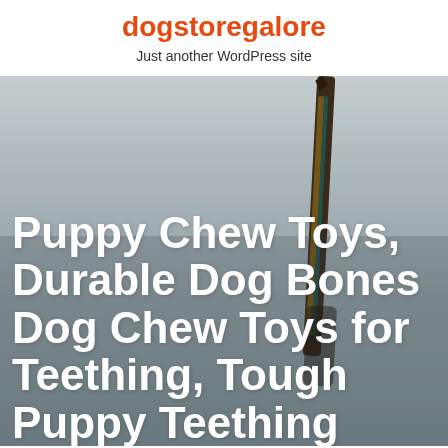dogstoregalore
Just another WordPress site
[Figure (photo): A dog chew toy or bone object (elongated, dark colored with brown and teal tones) held upright against a grey background. Large white bold text overlays the lower portion of the image.]
Puppy Chew Toys, Durable Dog Bones Dog Chew Toys for Teething, Tough Puppy Teething...